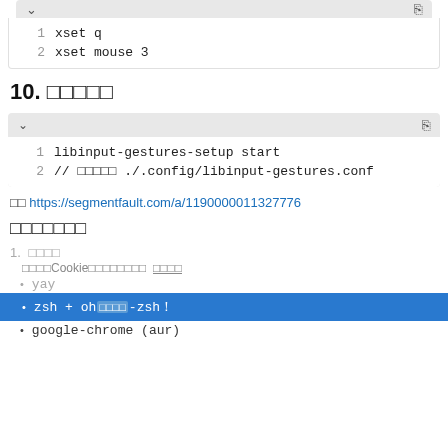[Figure (screenshot): Code block top partial (lines 1-2): line 1: xset q, line 2: xset mouse 3]
10. □□□□□
[Figure (screenshot): Code block with toolbar: line 1: libinput-gestures-setup start, line 2: // □□□□□ ./.config/libinput-gestures.conf]
□□ https://segmentfault.com/a/1190000011327776
□□□□□□□
1. □□□□
□□□□□Cookie□□□□□□□□  □□□□
• yay
• zsh + oh□□□□-zsh！
• google-chrome (aur)